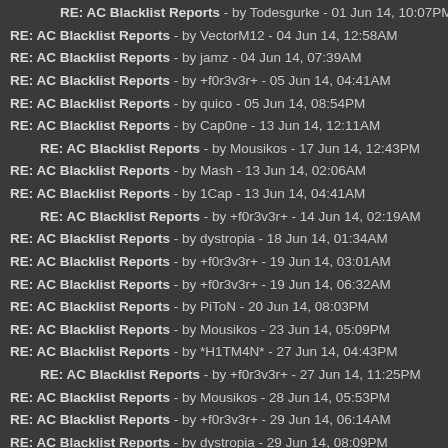RE: AC Blacklist Reports - by Todesgurke - 01 Jun 14, 10:07PM
RE: AC Blacklist Reports - by VectorM12 - 04 Jun 14, 12:58AM
RE: AC Blacklist Reports - by jamz - 04 Jun 14, 07:39AM
RE: AC Blacklist Reports - by +f0r3v3r+ - 05 Jun 14, 04:41AM
RE: AC Blacklist Reports - by quico - 05 Jun 14, 08:54PM
RE: AC Blacklist Reports - by Cap0ne - 13 Jun 14, 12:11AM
RE: AC Blacklist Reports - by Mousikos - 17 Jun 14, 12:43PM (indented)
RE: AC Blacklist Reports - by Mash - 13 Jun 14, 02:06AM
RE: AC Blacklist Reports - by 1Cap - 13 Jun 14, 04:41AM
RE: AC Blacklist Reports - by +f0r3v3r+ - 14 Jun 14, 02:19AM (indented)
RE: AC Blacklist Reports - by dystropia - 18 Jun 14, 01:34AM
RE: AC Blacklist Reports - by +f0r3v3r+ - 19 Jun 14, 03:01AM
RE: AC Blacklist Reports - by +f0r3v3r+ - 19 Jun 14, 06:32AM
RE: AC Blacklist Reports - by PiToN - 20 Jun 14, 08:03PM
RE: AC Blacklist Reports - by Mousikos - 23 Jun 14, 05:09PM
RE: AC Blacklist Reports - by *H1TM4N* - 27 Jun 14, 04:43PM
RE: AC Blacklist Reports - by +f0r3v3r+ - 27 Jun 14, 11:25PM (indented)
RE: AC Blacklist Reports - by Mousikos - 28 Jun 14, 05:53PM
RE: AC Blacklist Reports - by +f0r3v3r+ - 29 Jun 14, 06:14AM
RE: AC Blacklist Reports - by dystropia - 29 Jun 14, 08:09PM
RE: AC Blacklist Reports - by +f0r3v3r+ - 29 Jun 14, 10:45PM (indented)
RE: AC Blacklist Reports - by MPx - 01 Jul 14, 12:58AM
RE: AC Blacklist Reports - by Jg99 - 02 Jul 14, 01:35AM
RE: AC Blacklist Reports - by MykeGregory - 02 Jul 14, 01:55PM
RE: AC Blacklist Reports - by DeafieGamer - 08 Jul 14, 07:37PM (indented)